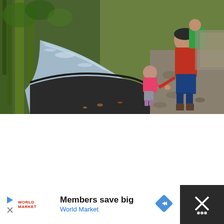[Figure (photo): Outdoor nature photo showing a child in a pink jacket standing near a small stream or drainage channel with moss-covered trees, being guided by an adult in a red jacket carrying another child in a green carrier on their back. Autumn forest setting with fallen leaves on rocky ground.]
Members save big
World Market